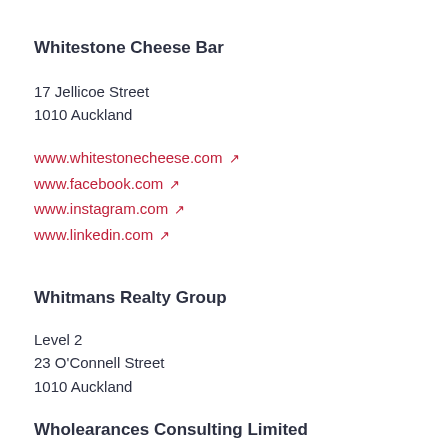Whitestone Cheese Bar
17 Jellicoe Street
1010 Auckland
www.whitestonecheese.com ↗
www.facebook.com ↗
www.instagram.com ↗
www.linkedin.com ↗
Whitmans Realty Group
Level 2
23 O'Connell Street
1010 Auckland
Wholearances Consulting Limited